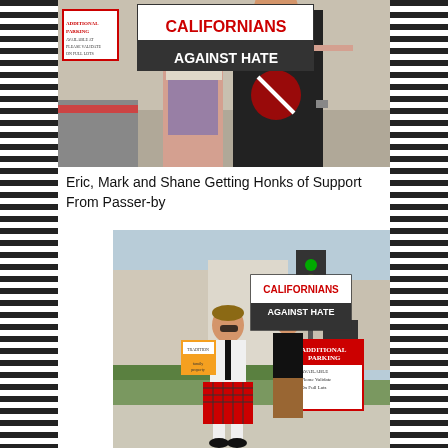[Figure (photo): People on a sidewalk holding a sign that reads 'Californians Against Hate'. One person in a black t-shirt with a crossed-out symbol, another in plaid shorts.]
Eric, Mark and Shane Getting Honks of Support From Passer-by
[Figure (photo): People walking on a sidewalk near an intersection holding 'Californians Against Hate' sign. One person wearing a kilt and playing bagpipes, another in a black t-shirt. An additional parking sign visible in background.]